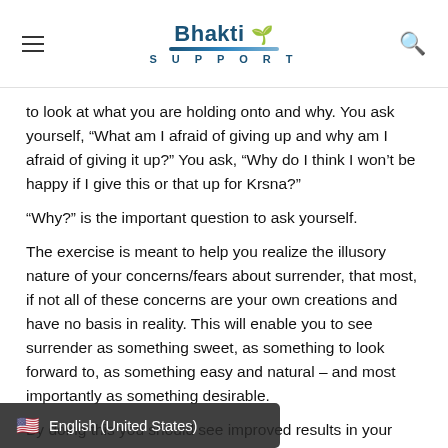Bhakti Support
to look at what you are holding onto and why. You ask yourself, “What am I afraid of giving up and why am I afraid of giving it up?” You ask, “Why do I think I won’t be happy if I give this or that up for Krsna?”
“Why?” is the important question to ask yourself.
The exercise is meant to help you realize the illusory nature of your concerns/fears about surrender, that most, if not all of these concerns are your own creations and have no basis in reality. This will enable you to see surrender as something sweet, as something to look forward to, as something easy and natural – and most importantly as something desirable.
By doing this you should see improved results in your chanting. As stated in the newsletter, these fears inhibit your willingness to call out to Krsna. When you let go of them they no longer control you and take you where…